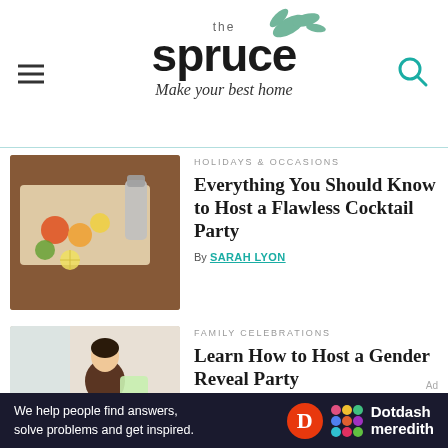the spruce — Make your best home
[Figure (photo): Top-down view of cocktail party ingredients including fruits, cheese, cocktail shaker on a wooden board]
HOLIDAYS & OCCASIONS
Everything You Should Know to Host a Flawless Cocktail Party
By SARAH LYON
[Figure (photo): Pregnant woman sitting on a couch holding a yellow baby onesie, surrounded by gift bags]
FAMILY CELEBRATIONS
Learn How to Host a Gender Reveal Party
By ROBIN ELISE WEISS
[Figure (other): Dotdash Meredith advertisement banner: We help people find answers, solve problems and get inspired.]